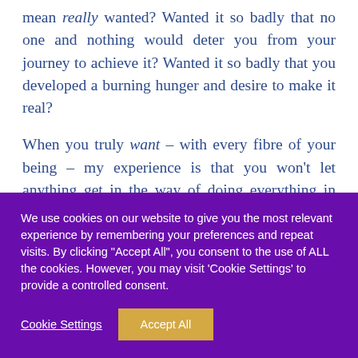mean really wanted? Wanted it so badly that no one and nothing would deter you from your journey to achieve it? Wanted it so badly that you developed a burning hunger and desire to make it real?

When you truly want – with every fibre of your being – my experience is that you won't let anything get in the way of doing everything in your power to do all you can to achieve it. You will feel
We use cookies on our website to give you the most relevant experience by remembering your preferences and repeat visits. By clicking "Accept All", you consent to the use of ALL the cookies. However, you may visit 'Cookie Settings' to provide a controlled consent.